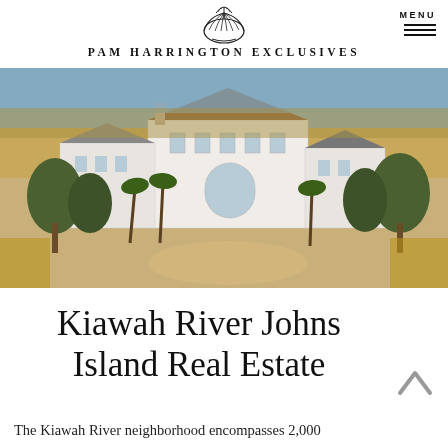PAM HARRINGTON EXCLUSIVES  MENU
[Figure (photo): Aerial view of a large white coastal estate surrounded by marshland, trees, and a sandy driveway, with water visible in the background.]
Kiawah River Johns Island Real Estate
The Kiawah River neighborhood encompasses 2,000